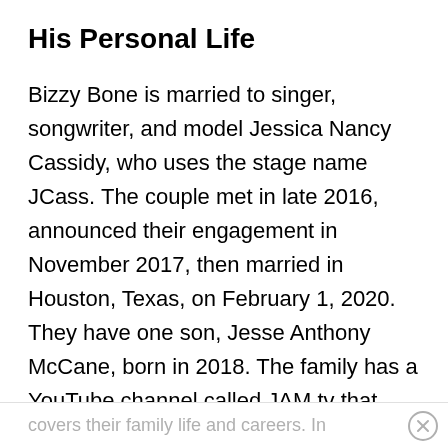His Personal Life
Bizzy Bone is married to singer, songwriter, and model Jessica Nancy Cassidy, who uses the stage name JCass. The couple met in late 2016, announced their engagement in November 2017, then married in Houston, Texas, on February 1, 2020. They have one son, Jesse Anthony McCane, born in 2018. The family has a YouTube channel called JAM tv that
covers their family life and careers. In